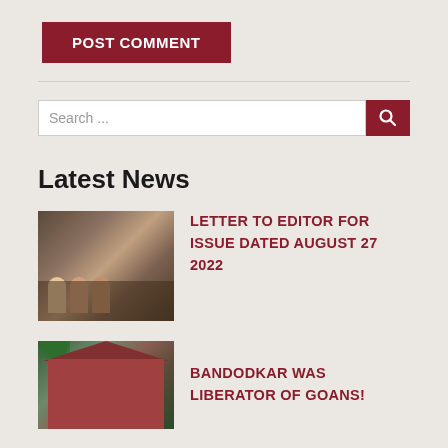POST COMMENT
Search ...
Latest News
LETTER TO EDITOR FOR ISSUE DATED AUGUST 27 2022
BANDODKAR WAS LIBERATOR OF GOANS!